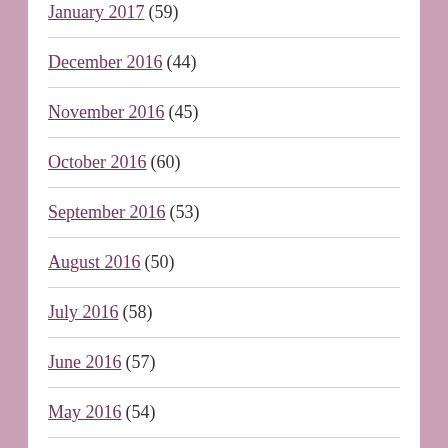January 2017 (59)
December 2016 (44)
November 2016 (45)
October 2016 (60)
September 2016 (53)
August 2016 (50)
July 2016 (58)
June 2016 (57)
May 2016 (54)
April 2016 (56)
March 2016 (55)